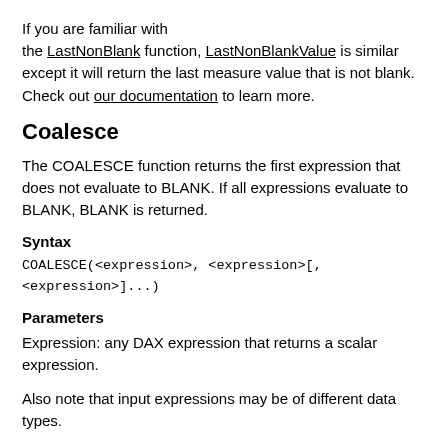If you are familiar with the LastNonBlank function, LastNonBlankValue is similar except it will return the last measure value that is not blank. Check out our documentation to learn more.
Coalesce
The COALESCE function returns the first expression that does not evaluate to BLANK. If all expressions evaluate to BLANK, BLANK is returned.
Syntax
COALESCE(<expression>, <expression>[, <expression>]...)
Parameters
Expression: any DAX expression that returns a scalar expression.
Also note that input expressions may be of different data types.